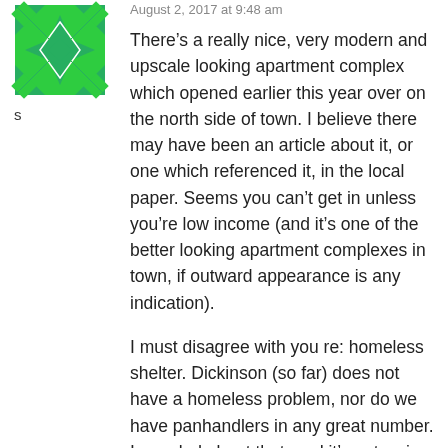[Figure (illustration): Green geometric/quilt pattern avatar icon]
s
August 2, 2017 at 9:48 am
There’s a really nice, very modern and upscale looking apartment complex which opened earlier this year over on the north side of town. I believe there may have been an article about it, or one which referenced it, in the local paper. Seems you can’t get in unless you’re low income (and it’s one of the better looking apartment complexes in town, if outward appearance is any indication).
I must disagree with you re: homeless shelter. Dickinson (so far) does not have a homeless problem, nor do we have panhandlers in any great number. I am glad about that, and it’s not owing to hating people or not caring. There is still work to be found in this area, which matters,